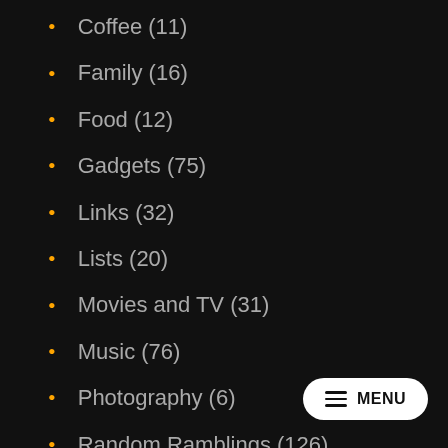Coffee (11)
Family (16)
Food (12)
Gadgets (75)
Links (32)
Lists (20)
Movies and TV (31)
Music (76)
Photography (6)
Random Ramblings (126)
Renovations (30)